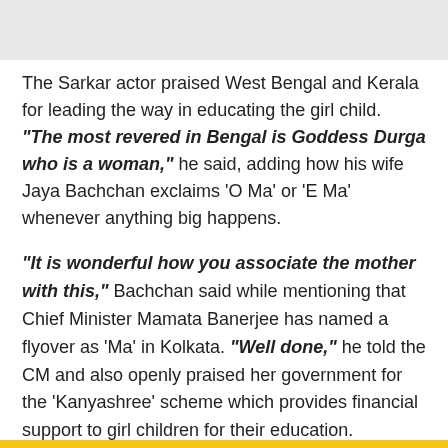The Sarkar actor praised West Bengal and Kerala for leading the way in educating the girl child. "The most revered in Bengal is Goddess Durga who is a woman," he said, adding how his wife Jaya Bachchan exclaims 'O Ma' or 'E Ma' whenever anything big happens.
"It is wonderful how you associate the mother with this," Bachchan said while mentioning that Chief Minister Mamata Banerjee has named a flyover as 'Ma' in Kolkata. "Well done," he told the CM and also openly praised her government for the 'Kanyashree' scheme which provides financial support to girl children for their education.